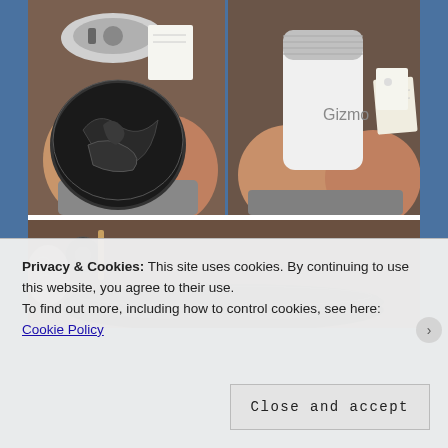[Figure (photo): Left photo showing a blender bottom base (circular, chrome rim) and a round container with cracked plastic bag inside, placed on legs/lap with gray fabric]
[Figure (photo): Right photo showing a white cylindrical air purifier or humidifier device with silver ribbed top, placed on brown carpet with papers/documents nearby]
[Figure (photo): Bottom photo showing a dark circular flat disc/base on brown carpet, with chair wheels and other items partially visible in background]
Privacy & Cookies: This site uses cookies. By continuing to use this website, you agree to their use.
To find out more, including how to control cookies, see here: Cookie Policy
Close and accept